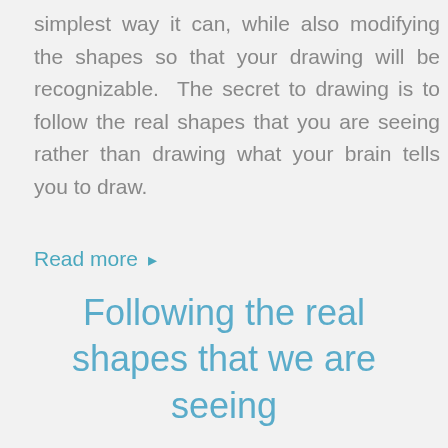simplest way it can, while also modifying the shapes so that your drawing will be recognizable.  The secret to drawing is to follow the real shapes that you are seeing rather than drawing what your brain tells you to draw.
Read more ▸
Following the real shapes that we are seeing